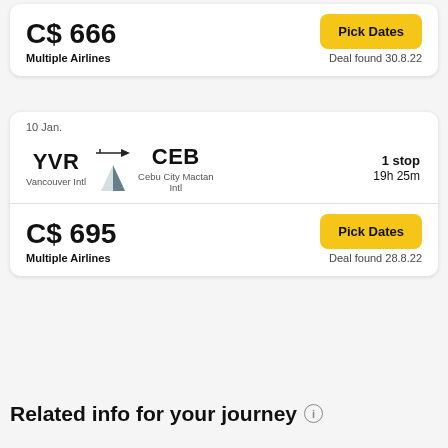C$ 666
Multiple Airlines
Pick Dates
Deal found 30.8.22
10 Jan.
YVR
Vancouver Intl
CEB
Cebu City Mactan Intl
1 stop
19h 25m
C$ 695
Multiple Airlines
Pick Dates
Deal found 28.8.22
Related info for your journey